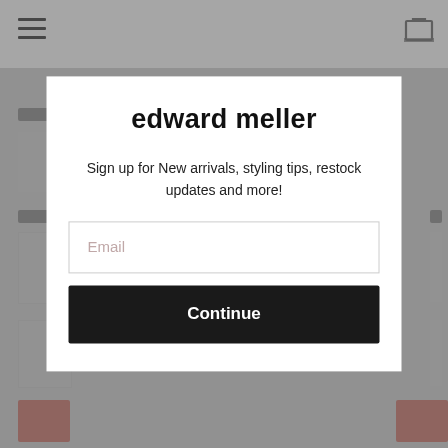[Figure (screenshot): Website popup/modal overlay for edward meller brand showing email signup form with Continue button on a greyed-out background]
edward meller
Sign up for New arrivals, styling tips, restock updates and more!